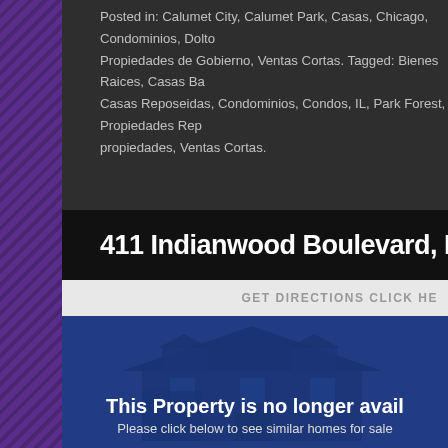Posted in: Calumet City, Calumet Park, Casas, Chicago, Condominios, Dolto... Propiedades de Gobierno, Ventas Cortas. Tagged: Bienes Raices, Casas Ba... Casas Reposeidas, Condominios, Condos, IL, Park Forest, Propiedades Rep... propiedades, Ventas Cortas.
411 Indianwood Boulevard, PARK F...
GET DIRECTIONS CLICK HE...
[Figure (photo): A house photo with a dark blue overlay. Text overlay reads: 'This Property is no longer avail...' and 'Please click below to see similar homes for sale']